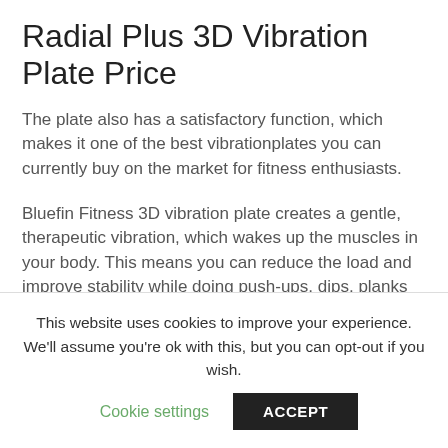Radial Plus 3D Vibration Plate Price
The plate also has a satisfactory function, which makes it one of the best vibrationplates you can currently buy on the market for fitness enthusiasts.
Bluefin Fitness 3D vibration plate creates a gentle, therapeutic vibration, which wakes up the muscles in your body. This means you can reduce the load and improve stability while doing push-ups, dips, planks and everything else. Get the best results from this plate, use it
This website uses cookies to improve your experience. We'll assume you're ok with this, but you can opt-out if you wish.
Cookie settings
ACCEPT